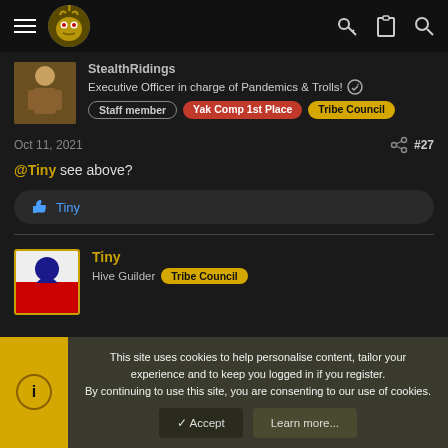Navigation header with menu, logo, key icon, clipboard icon, search icon
StealthRidings - Executive Officer in charge of Pandemics & Trolls!
Staff member | Yak Comp 1st Place | Tribe Council
Oct 11, 2021  #27
@Tiny see above?
Tiny (reaction)
Tiny - Hive Guilder - Tribe Council
This site uses cookies to help personalise content, tailor your experience and to keep you logged in if you register. By continuing to use this site, you are consenting to our use of cookies.
Accept | Learn more...